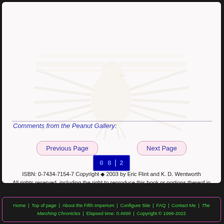[Figure (illustration): Faint watermark eagle/imperial crest in beige/tan tones covering the upper portion of the main content area]
Comments from the Peanut Gallery:
Previous Page | Next Page (navigation buttons)
[Figure (other): Digital counter/timer display showing numbers on blue background]
ISBN: 0-7434-7154-7 Copyright © 2003 by Eric Flint and K. D. Wentworth
All rights reserved, including the right to reproduce this book or portions thereof in any form.
Home | Top of page | About the Fifth Imperium | Configure Site | FAQ | Contact Me | The Marching Chronicles | Elapsed time: 0.4990 | Copyright © 1999-2022